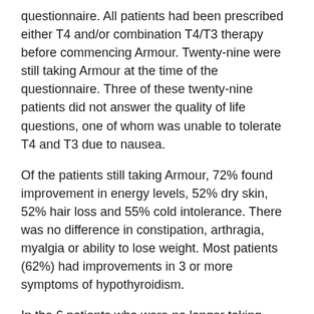questionnaire. All patients had been prescribed either T4 and/or combination T4/T3 therapy before commencing Armour. Twenty-nine were still taking Armour at the time of the questionnaire. Three of these twenty-nine patients did not answer the quality of life questions, one of whom was unable to tolerate T4 and T3 due to nausea.
Of the patients still taking Armour, 72% found improvement in energy levels, 52% dry skin, 52% hair loss and 55% cold intolerance. There was no difference in constipation, arthragia, myalgia or ability to lose weight. Most patients (62%) had improvements in 3 or more symptoms of hypothyroidism.
In the 6 patients who were no longer taking Armour, there were no significant improvements in any parameter.
Conclusion: In appropriately selected hypothyroid patients